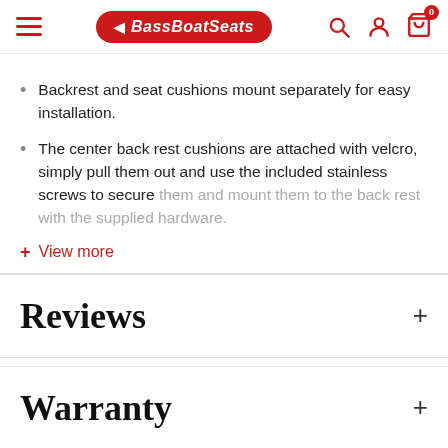BassBoatSeats
Backrest and seat cushions mount separately for easy installation.
The center back rest cushions are attached with velcro, simply pull them out and use the included stainless screws to secure them...
+ View more
Reviews
Warranty